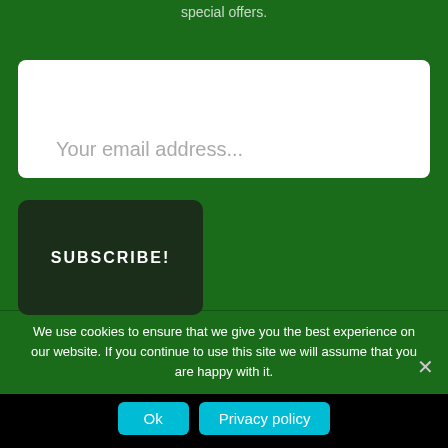special offers.
Your email address...
SUBSCRIBE!
We use cookies to ensure that we give you the best experience on our website. If you continue to use this site we will assume that you are happy with it.
Ok
Privacy policy